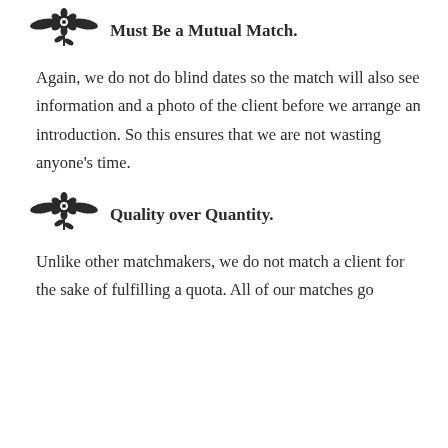Must Be a Mutual Match.
Again, we do not do blind dates so the match will also see information and a photo of the client before we arrange an introduction. So this ensures that we are not wasting anyone's time.
Quality over Quantity.
Unlike other matchmakers, we do not match a client for the sake of fulfilling a quota. All of our matches go through deep systematic screening.